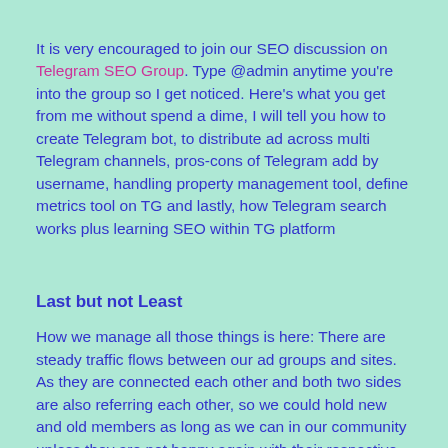It is very encouraged to join our SEO discussion on Telegram SEO Group. Type @admin anytime you're into the group so I get noticed. Here's what you get from me without spend a dime, I will tell you how to create Telegram bot, to distribute ad across multi Telegram channels, pros-cons of Telegram add by username, handling property management tool, define metrics tool on TG and lastly, how Telegram search works plus learning SEO within TG platform
Last but not Least
How we manage all those things is here: There are steady traffic flows between our ad groups and sites. As they are connected each other and both two sides are also referring each other, so we could hold new and old members as long as we can in our community unless they are not happy again with their respective reasons. We understand there's processing that indicates coming in also coming out and that is very natural also. It is alright. In